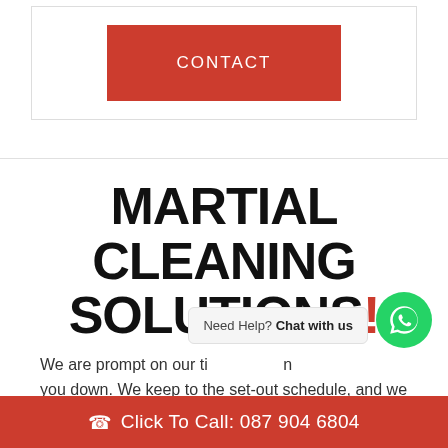[Figure (other): Red CONTACT button inside a bordered white box]
MARTIAL CLEANING SOLUTIONS!
We are prompt on our ti... n you down. We keep to the set-out schedule, and we
[Figure (other): WhatsApp chat widget with bubble saying 'Need Help? Chat with us' and green WhatsApp circle icon]
Click To Call: 087 904 6804